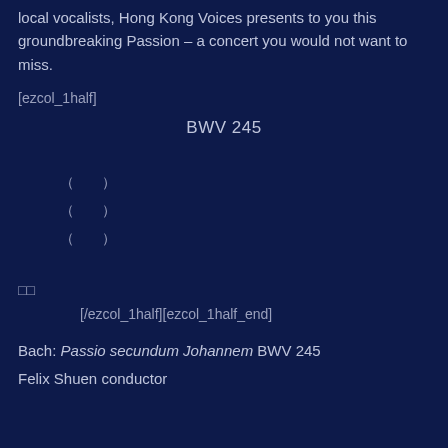local vocalists, Hong Kong Voices presents to you this groundbreaking Passion – a concert you would not want to miss.
[ezcol_1half]
BWV 245
（　　）
（　　）
（　　）
□□
[/ezcol_1half][ezcol_1half_end]
Bach: Passio secundum Johannem BWV 245
Felix Shuen conductor